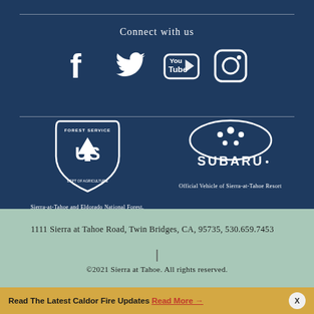Connect with us
[Figure (logo): Social media icons: Facebook, Twitter, YouTube, Instagram on dark blue background]
[Figure (logo): USDA Forest Service shield logo - Sierra-at-Tahoe and Eldorado National Forest, Partners in Recreation]
Sierra-at-Tahoe and Eldorado National Forest, Partners in Recreation
[Figure (logo): Subaru logo - Official Vehicle of Sierra-at-Tahoe Resort]
Official Vehicle of Sierra-at-Tahoe Resort
1111 Sierra at Tahoe Road, Twin Bridges, CA, 95735, 530.659.7453
©2021 Sierra at Tahoe. All rights reserved.
Read The Latest Caldor Fire Updates Read More →